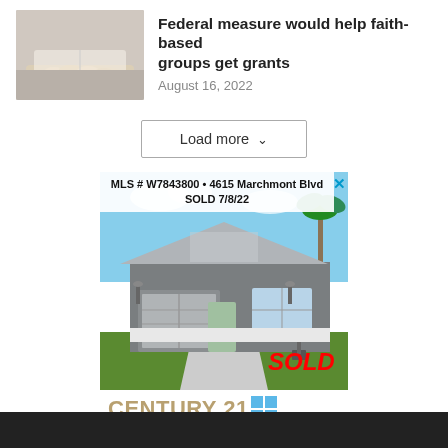[Figure (photo): Hands resting on an open book/Bible, thumbnail image]
Federal measure would help faith-based groups get grants
August 16, 2022
Load more
[Figure (photo): Real estate advertisement showing a sold house for MLS # W7843800 • 4615 Marchmont Blvd, SOLD 7/8/22, Century 21 Alliance Realty, Call us at 352-686-0000 for the sale price of this home.]